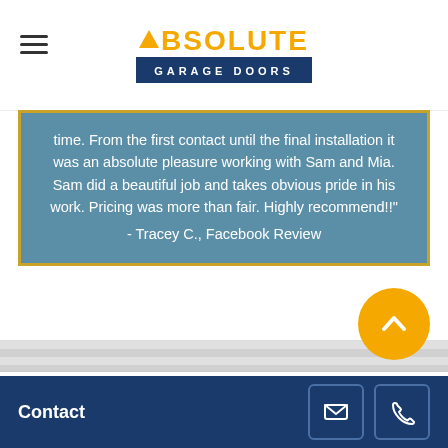Absolute Garage Doors
time. From the first contact until the final installation it was an absolute pleasure working with Sam and Mia. Sam did a beautiful job and takes obvious pride in his work. Pricing was more than fair. Highly recommend!! - Tracey C., Facebook Review
Please Leave Us a Message
We do our best to answer your phone calls, emails and messages. Please let us know what type of service you are looking for, some specs about your garage door or garage door opener, and your preferred method
Contact